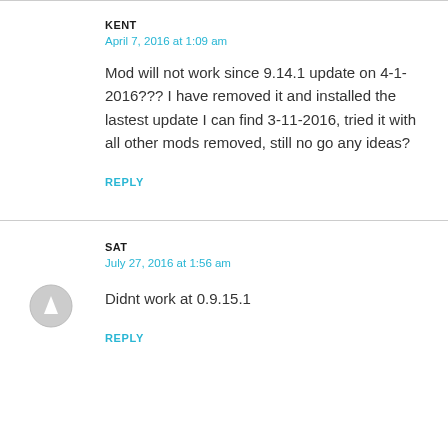KENT
April 7, 2016 at 1:09 am
Mod will not work since 9.14.1 update on 4-1-2016??? I have removed it and installed the lastest update I can find 3-11-2016, tried it with all other mods removed, still no go any ideas?
REPLY
SAT
July 27, 2016 at 1:56 am
Didnt work at 0.9.15.1
REPLY